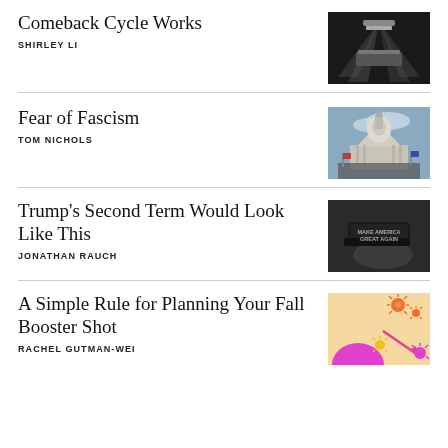Comeback Cycle Works
SHIRLEY LI
[Figure (photo): Concert or stage scene with dramatic lighting, black and white]
Fear of Fascism
TOM NICHOLS
[Figure (photo): US Capitol building with crowd waving flags]
Trump's Second Term Would Look Like This
JONATHAN RAUCH
[Figure (photo): Black and white photo of a Make America Great Again cap]
A Simple Rule for Planning Your Fall Booster Shot
RACHEL GUTMAN-WEI
[Figure (illustration): Colorful illustration with virus particles, pink, orange, yellow on light background]